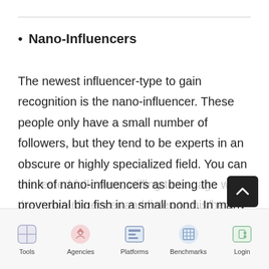Nano-Influencers
The newest influencer-type to gain recognition is the nano-influencer. These people only have a small number of followers, but they tend to be experts in an obscure or highly specialized field. You can think of nano-influencers as being the proverbial big fish in a small pond. In many cases, they have fewer than 1,000 followers – but they will be keen and interested followers, willing to engage with the nano-influencer and listen to his/her opinions.
Tools | Agencies | Platforms | Benchmarks | Login